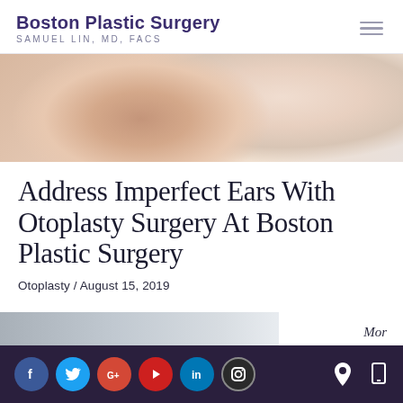Boston Plastic Surgery | SAMUEL LIN, MD, FACS
[Figure (photo): Close-up photo of a woman's face near her ear, soft warm tones]
Address Imperfect Ears With Otoplasty Surgery At Boston Plastic Surgery
Otoplasty / August 15, 2019
[Figure (photo): Partial photo at bottom of page showing person with dark hair, beside text 'Mor']
Social media icons: Facebook, Twitter, Google+, YouTube, LinkedIn, Instagram; location and mobile icons